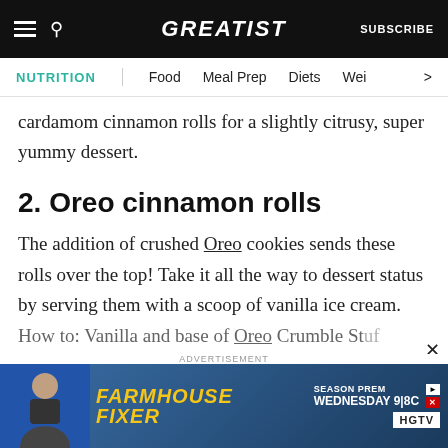GREATIST | SUBSCRIBE
NUTRITION | Food | Meal Prep | Diets | Wei >
cardamom cinnamon rolls for a slightly citrusy, super yummy dessert.
2. Oreo cinnamon rolls
The addition of crushed Oreo cookies sends these rolls over the top! Take it all the way to dessert status by serving them with a scoop of vanilla ice cream.
How to: Vanilla and base of Oreo Crumble Stuff
[Figure (screenshot): Advertisement banner for HGTV Farmhouse Fixer show, Season Premiere Wednesday 9|8C]